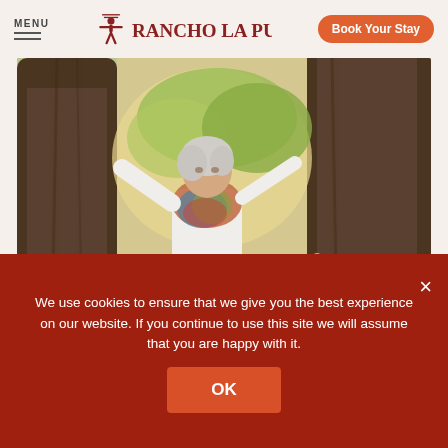MENU | Rancho La Puerta | Book Your Stay
[Figure (photo): Older woman with white hair and colorful scarf standing between two large tree trunks in a sunny garden setting]
We use cookies to ensure that we give you the best experience on our website. If you continue to use this site we will assume that you are happy with it.